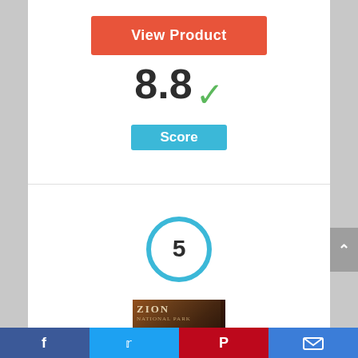[Figure (screenshot): Orange 'View Product' button]
8.8 ✓
Score
[Figure (infographic): Circle badge with number 5]
[Figure (photo): Zion National Park product image]
Facebook | Twitter | Pinterest | Email social share bar